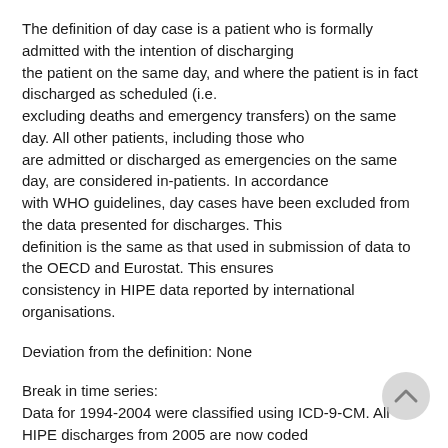The definition of day case is a patient who is formally admitted with the intention of discharging the patient on the same day, and where the patient is in fact discharged as scheduled (i.e. excluding deaths and emergency transfers) on the same day. All other patients, including those who are admitted or discharged as emergencies on the same day, are considered in-patients. In accordance with WHO guidelines, day cases have been excluded from the data presented for discharges. This definition is the same as that used in submission of data to the OECD and Eurostat. This ensures consistency in HIPE data reported by international organisations.
Deviation from the definition: None
Break in time series:
Data for 1994-2004 were classified using ICD-9-CM. All HIPE discharges from 2005 are now coded using ICD-10-AM (the Australian Modification of ICD-10 incorporating the Australian Classification of Health Interventions). The change from ICD-9-CM to ICD-10